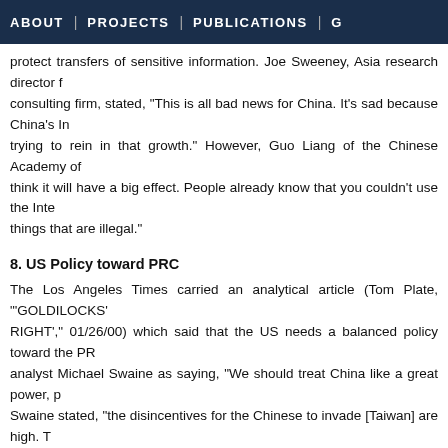ABOUT | PROJECTS | PUBLICATIONS | G
protect transfers of sensitive information. Joe Sweeney, Asia research director f consulting firm, stated, "This is all bad news for China. It's sad because China's In trying to rein in that growth." However, Guo Liang of the Chinese Academy of think it will have a big effect. People already know that you couldn't use the Inte things that are illegal."
8. US Policy toward PRC
The Los Angeles Times carried an analytical article (Tom Plate, "'GOLDILOCKS' RIGHT'," 01/26/00) which said that the US needs a balanced policy toward the PR analyst Michael Swaine as saying, "We should treat China like a great power, p Swaine stated, "the disincentives for the Chinese to invade [Taiwan] are high. T choice." He added, "It's not that [the US] shouldn't get closer to Taiwan simply bec cost-benefit analysis, we gain more by not doing too much than if we do." Swaine the Taiwanese authorities are doing when they request more high-profile arms t It's a mistake to make them look like a formal ally, like South Korea or Japan. Bes PRC is at least 15 to 20 years of major economic development and military buildu to challenge the US.
9. Taiwan Elections